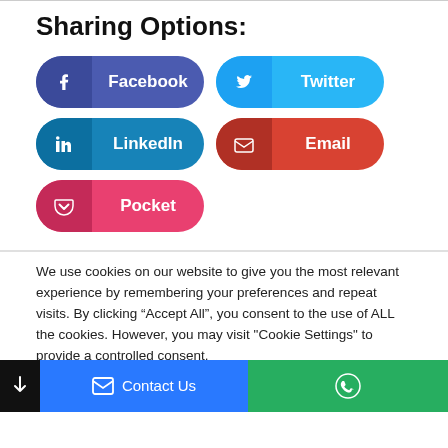Sharing Options:
[Figure (infographic): Social sharing buttons: Facebook (purple), Twitter (blue), LinkedIn (blue), Email (red), Pocket (pink)]
We use cookies on our website to give you the most relevant experience by remembering your preferences and repeat visits. By clicking “Accept All”, you consent to the use of ALL the cookies. However, you may visit "Cookie Settings" to provide a controlled consent.
Cookie Settings | Accept All
Contact Us | WhatsApp